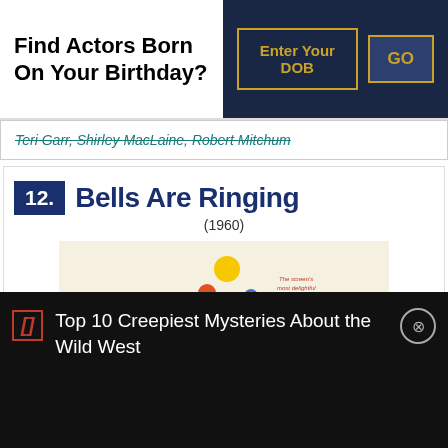Find Actors Born On Your Birthday?
Enter Your DOB
GO
Teri Garr, Shirley MacLaine, Robert Mitchum
12. Bells Are Ringing
(1960)
[Figure (photo): Movie poster for Bells Are Ringing (1960) showing a woman in a red dress and a man in a tuxedo dancing, with colorful bubbles and the movie title in stylized lettering]
Top 10 Creepiest Mysteries About the Wild West